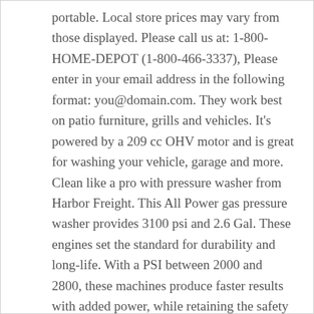portable. Local store prices may vary from those displayed. Please call us at: 1-800-HOME-DEPOT (1-800-466-3337), Please enter in your email address in the following format: you@domain.com. They work best on patio furniture, grills and vehicles. It's powered by a 209 cc OHV motor and is great for washing your vehicle, garage and more. Clean like a pro with pressure washer from Harbor Freight. This All Power gas pressure washer provides 3100 psi and 2.6 Gal. These engines set the standard for durability and long-life. With a PSI between 2000 and 2800, these machines produce faster results with added power, while retaining the safety element for home … For added convenience, the RYOBI 3000-PSI Pressure Washer is equipped a 5-in-1 quick-change-over nozzle for versatile cleaning. Featuring a durable and compact roll-cage frame and folding